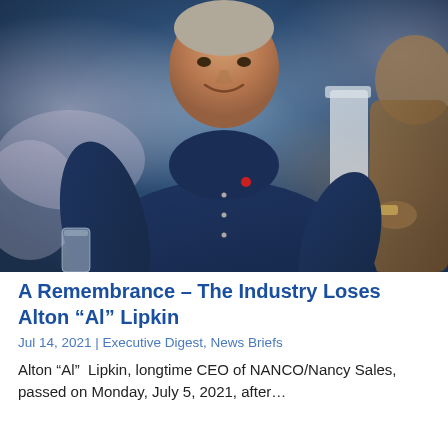[Figure (photo): Photograph of Alton 'Al' Lipkin, an older man smiling, wearing a dark navy blue polo shirt, seated at what appears to be an event or gathering. There is a glass in the foreground at the lower left. Another person is partially visible on the right side. The background shows blurred tables and chairs.]
A Remembrance – The Industry Loses Alton “Al” Lipkin
Jul 14, 2021 | Executive Digest, News Briefs
Alton “Al”  Lipkin, longtime CEO of NANCO/Nancy Sales, passed on Monday, July 5, 2021, after…